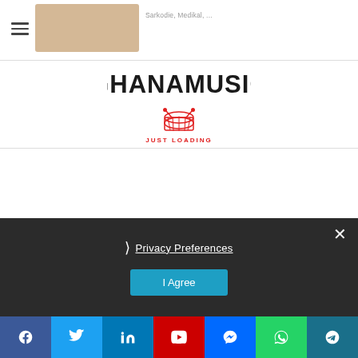[Figure (logo): GhanaMusic logo with red drum icon and 'GHANAMUSIC' text in black bold letters, with red tagline 'JUST LOADING']
Privacy Preferences
I Agree